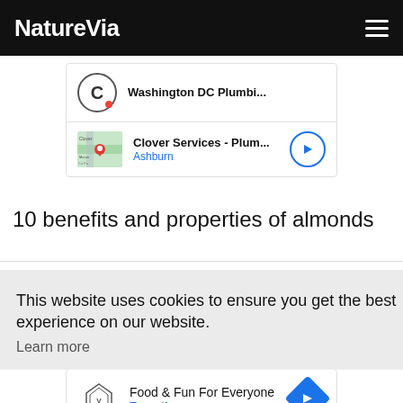NatureVia
[Figure (screenshot): Advertisement block showing Washington DC Plumbi... with Copilot-style C logo]
[Figure (screenshot): Advertisement block showing Clover Services - Plum... with Ashburn location and map thumbnail]
10 benefits and properties of almonds
This website uses cookies to ensure you get the best experience on our website.
Learn more
we
[Figure (screenshot): Advertisement block showing Food & Fun For Everyone - Topgolf with blue diamond navigation arrow]